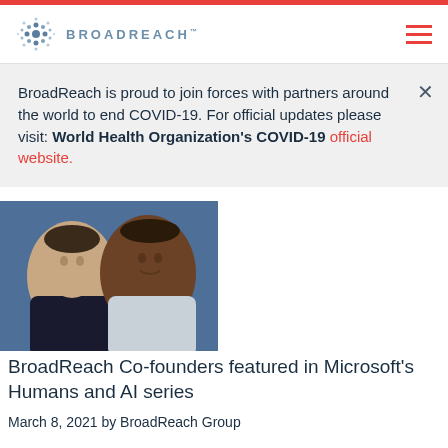BROADREACH
BroadReach is proud to join forces with partners around the world to end COVID-19. For official updates please visit: World Health Organization's COVID-19 official website.
[Figure (photo): Two men posing together: a man with light skin on the left and a man with dark skin on the right, against a blue background]
BroadReach Co-founders featured in Microsoft's Humans and AI series
March 8, 2021 by BroadReach Group